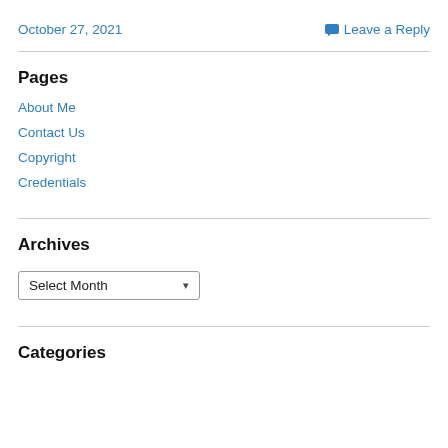October 27, 2021
Leave a Reply
Pages
About Me
Contact Us
Copyright
Credentials
Archives
Select Month
Categories